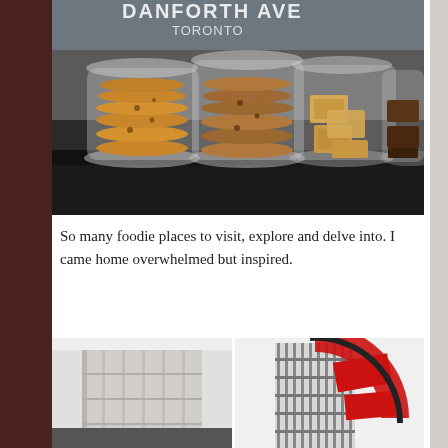[Figure (photo): Photo of glass jars filled with cookies and baked goods on a counter at a cafe. In the background, text on glass reads 'DANFORTH AVE TORONTO'. Multiple large cookie varieties visible including chocolate chip, oatmeal, and square biscuits.]
So many foodie places to visit, explore and delve into. I came home overwhelmed but inspired.
[Figure (photo): Two photos side by side: left shows the exterior of a modern building with architectural details; right shows a building exterior with prominent red geometric signage/sculpture.]